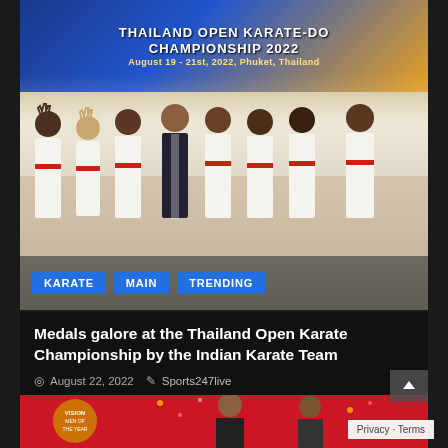[Figure (photo): Group photo of Indian Karate team in white gi uniforms with red belts, posing in front of a 'Thailand Open Karate-Do Championship 2022' banner. One person in the center wears a dark suit. Tags KARATE, MAIN, TRENDING appear at the bottom of the image.]
Medals galore at the Thailand Open Karate Championship by the Indian Karate Team
August 22, 2022  Sports247live
[Figure (photo): Partially visible photo of two men in suits on a red-themed background, appears to be an awards event.]